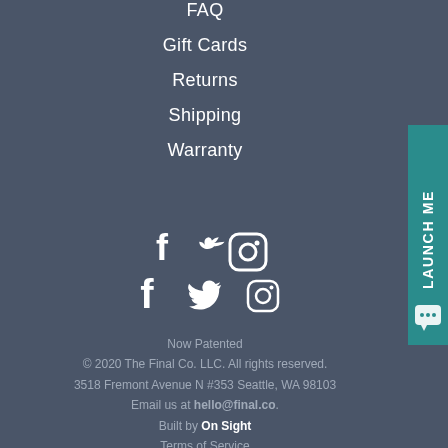FAQ
Gift Cards
Returns
Shipping
Warranty
[Figure (illustration): Social media icons: Facebook, Twitter, Instagram]
Now Patented
© 2020 The Final Co. LLC. All rights reserved.
3518 Fremont Avenue N #353 Seattle, WA 98103
Email us at hello@final.co.
Built by On Sight
Terms of Service